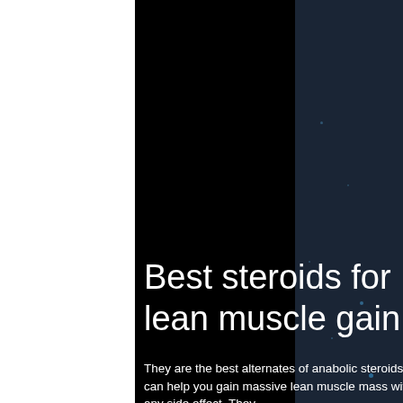[Figure (photo): Dark background layout with white left panel, black center panel, and dark navy right panel with faint star/bokeh dots]
Best steroids for lean muscle gain
They are the best alternates of anabolic steroids that can help you gain massive lean muscle mass without any side effect. They